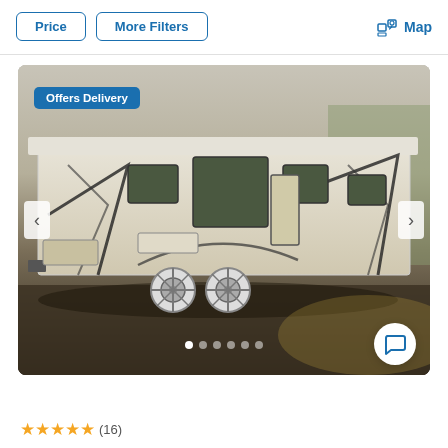Price
More Filters
Map
[Figure (photo): RV travel trailer / camper with 'Offers Delivery' badge, shown parked on asphalt, side profile view, white exterior with geometric graphics, dual axle wheels. Slideout image carousel with navigation arrows and 6 dots indicator. Chat bubble icon in lower right.]
Offers Delivery
(16)